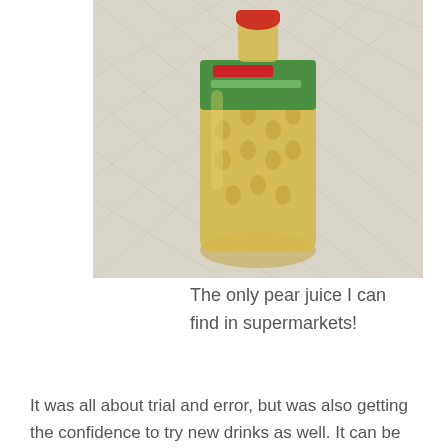[Figure (photo): A plastic bottle of pear juice with a green label and red cap, lying on a white patterned fabric background.]
The only pear juice I can find in supermarkets!
It was all about trial and error, but was also getting the confidence to try new drinks as well. It can be